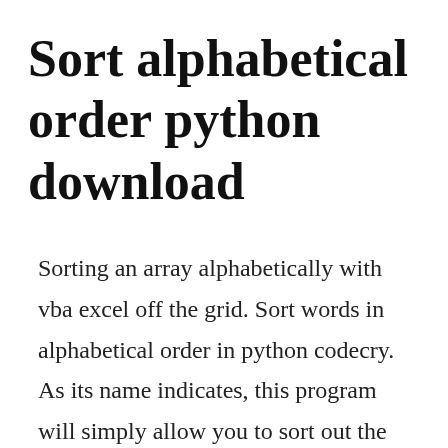Sort alphabetical order python download
Sorting an array alphabetically with vba excel off the grid. Sort words in alphabetical order in python codecry. As its name indicates, this program will simply allow you to sort out the contents of your files in alphabetical order. Of course, to make this work, your field that is used to sort. The video explains in detail on